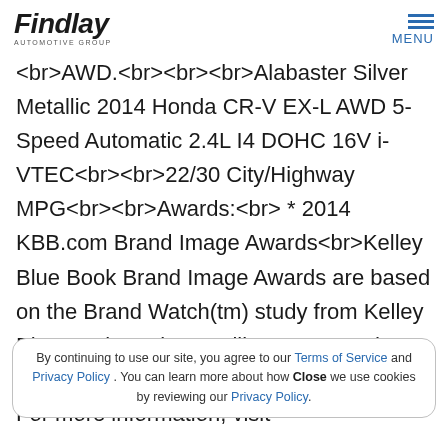Findlay Automotive Group
<br>AWD.<br><br><br>Alabaster Silver Metallic 2014 Honda CR-V EX-L AWD 5-Speed Automatic 2.4L I4 DOHC 16V i-VTEC<br><br>22/30 City/Highway MPG<br><br>Awards:<br> * 2014 KBB.com Brand Image Awards<br>Kelley Blue Book Brand Image Awards are based on the Brand Watch(tm) study from Kelley Blue Book Market Intelligence. Award calculated among non-luxury shoppers. For more information, visit
By continuing to use our site, you agree to our Terms of Service and Privacy Policy . You can learn more about how we use cookies by reviewing our Privacy Policy.